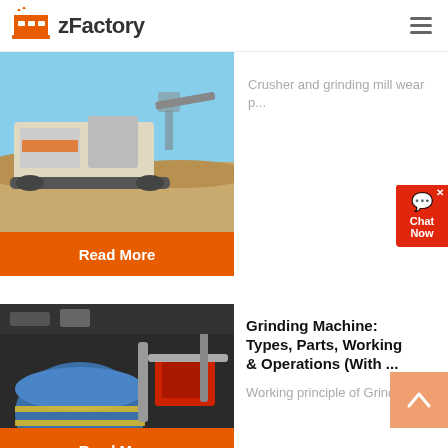zFactory
[Figure (photo): Large mining crusher machine on a sandy terrain with excavator in background]
Crusher and grinding mill wear p...
Read More
[Figure (photo): Industrial grinding machine with blue drum and red motor components, pipework visible]
Grinding Machine: Types, Parts, Working & Operations (With ...
Working principle of Grinding M...
Read More